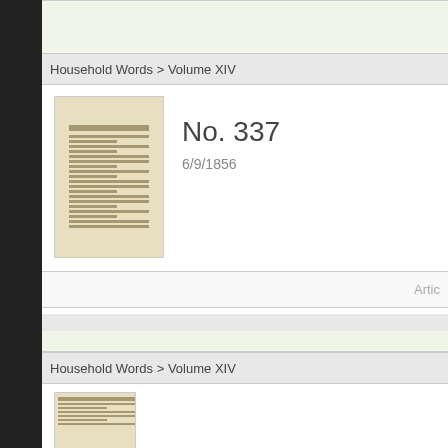Household Words > Volume XIV
[Figure (illustration): Thumbnail image of Household Words magazine cover, aged paper appearance]
No. 337
6/9/1856
Artic
DJO acknowledges with huge gratitude the expertise and supp the online proofing of this magazine, as online text Ben Winyard and Janice S
Household Words > Volume XIV
[Figure (illustration): Partial thumbnail image of Household Words magazine cover, aged paper appearance]